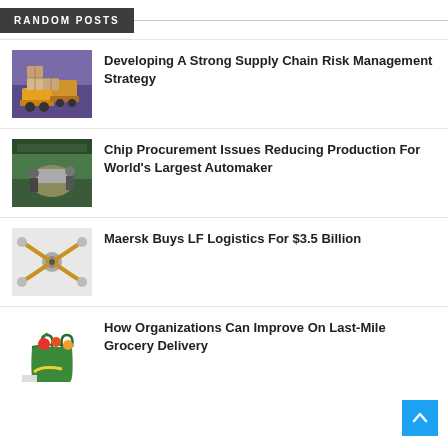RANDOM POSTS
[Figure (photo): Forklifts moving boxes in a warehouse]
Developing A Strong Supply Chain Risk Management Strategy
[Figure (photo): Workers in an automotive manufacturing plant]
Chip Procurement Issues Reducing Production For World's Largest Automaker
[Figure (photo): Drone or mechanical device with multiple arms]
Maersk Buys LF Logistics For $3.5 Billion
[Figure (photo): Grocery bag filled with vegetables and fruits]
How Organizations Can Improve On Last-Mile Grocery Delivery